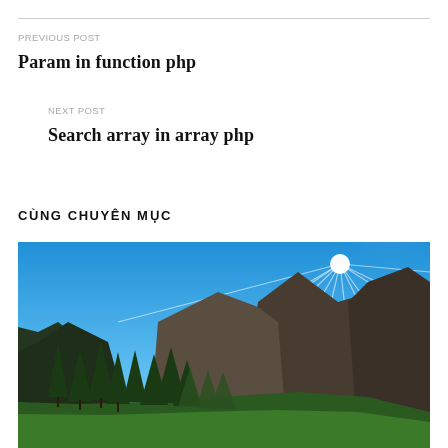PREVIOUS POST
Param in function php
NEXT POST
Search array in array php
CÙNG CHUYÊN MỤC
[Figure (photo): Mountain landscape with pine trees, dramatic peaks, and bright sunlight with lens flare against a vivid blue sky]